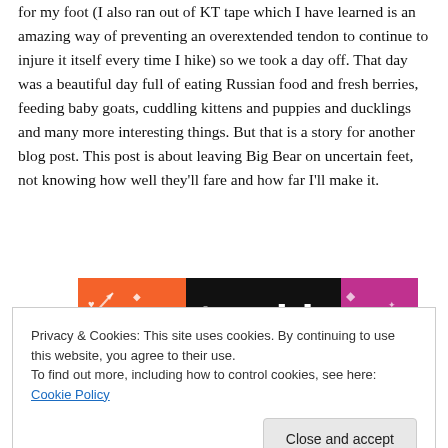for my foot (I also ran out of KT tape which I have learned is an amazing way of preventing an overextended tendon to continue to injure it itself every time I hike) so we took a day off. That day was a beautiful day full of eating Russian food and fresh berries, feeding baby goats, cuddling kittens and puppies and ducklings and many more interesting things. But that is a story for another blog post. This post is about leaving Big Bear on uncertain feet, not knowing how well they'll fare and how far I'll make it.
[Figure (logo): Tumblr logo banner with orange and purple decorative background]
Privacy & Cookies: This site uses cookies. By continuing to use this website, you agree to their use.
To find out more, including how to control cookies, see here: Cookie Policy
Close and accept